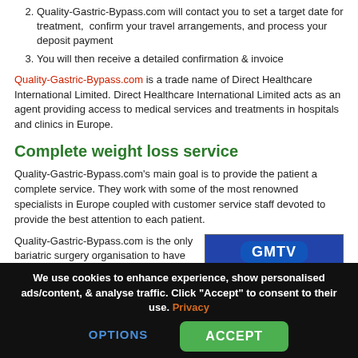Quality-Gastric-Bypass.com will contact you to set a target date for treatment, confirm your travel arrangements, and process your deposit payment
You will then receive a detailed confirmation & invoice
Quality-Gastric-Bypass.com is a trade name of Direct Healthcare International Limited. Direct Healthcare International Limited acts as an agent providing access to medical services and treatments in hospitals and clinics in Europe.
Complete weight loss service
Quality-Gastric-Bypass.com's main goal is to provide the patient a complete service. They work with some of the most renowned specialists in Europe coupled with customer service staff devoted to provide the best attention to each patient.
Quality-Gastric-Bypass.com is the only bariatric surgery organisation to have been featured consistently on the media organisations above.
[Figure (photo): Media logos collage showing GMTV, Channel 4, TV Tokyo, Mirror, Granada, and TONIGHT text on a dark blue background]
We use cookies to enhance experience, show personalised ads/content, & analyse traffic. Click "Accept" to consent to their use. Privacy
OPTIONS   ACCEPT